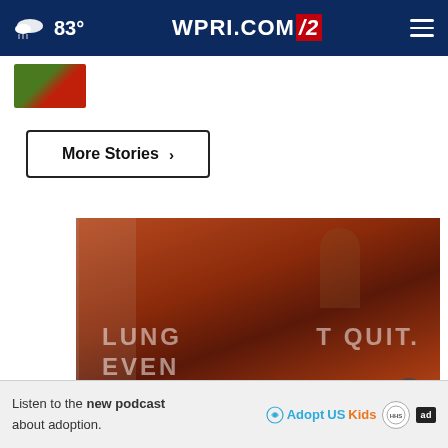83° WPRI.COM 12
[Figure (screenshot): Thumbnail image strip showing a partial thumbnail with green and red colors]
More Stories ›
[Figure (screenshot): Video frame with brownish-red tones showing a person in a room with overlaid text reading 'LUNG T QUIT. EVEN ...' — appears to be a health-related anti-smoking advertisement video]
Listen to the new podcast about adoption.